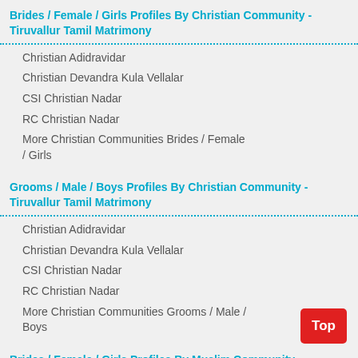Brides / Female / Girls Profiles By Christian Community - Tiruvallur Tamil Matrimony
Christian Adidravidar
Christian Devandra Kula Vellalar
CSI Christian Nadar
RC Christian Nadar
More Christian Communities Brides / Female / Girls
Grooms / Male / Boys Profiles By Christian Community - Tiruvallur Tamil Matrimony
Christian Adidravidar
Christian Devandra Kula Vellalar
CSI Christian Nadar
RC Christian Nadar
More Christian Communities Grooms / Male / Boys
Brides / Female / Girls Profiles By Muslim Community - Tiruvallur Tamil Matrimony
Muslim-Dhakni
Muslim-Lebbai